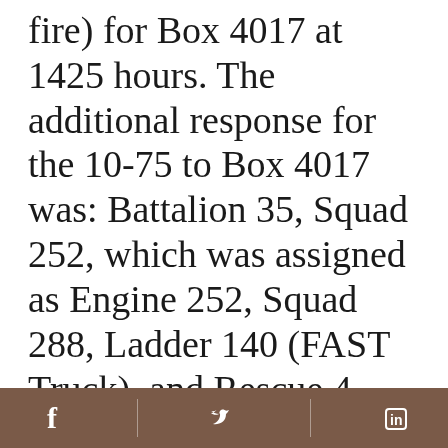fire) for Box 4017 at 1425 hours. The additional response for the 10-75 to Box 4017 was: Battalion 35, Squad 252, which was assigned as Engine 252, Squad 288, Ladder 140 (FAST Truck), and Rescue 4. The fire was knocked down at 1431 hours. The outside vent (OV) fire fighter for Tower Ladder 135
Facebook | Twitter | LinkedIn